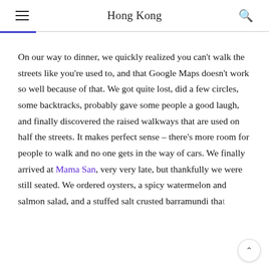Hong Kong
On our way to dinner, we quickly realized you can't walk the streets like you're used to, and that Google Maps doesn't work so well because of that. We got quite lost, did a few circles, some backtracks, probably gave some people a good laugh, and finally discovered the raised walkways that are used on half the streets. It makes perfect sense – there's more room for people to walk and no one gets in the way of cars. We finally arrived at Mama San, very very late, but thankfully we were still seated. We ordered oysters, a spicy watermelon and salmon salad, and a stuffed salt crusted barramundi that